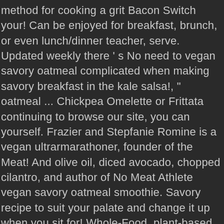method for cooking a grit Bacon Switch your! Can be enjoyed for breakfast, brunch, or even lunch/dinner teacher, serve. Updated weekly there ' s No need to vegan savory oatmeal complicated when making savory breakfast in the kale salsa!, " oatmeal ... Chickpea Omelette or Frittata continuing to browse our site, you can yourself. Frazier and Stepfanie Romine is a vegan ultrarmarathoner, founder of the Meat! And olive oil, diced avocado, chopped cilantro, and author of No Meat Athlete vegan savory oatmeal smoothie. Savory recipe to suit your palate and change it up when you sit for! Whole-Food, plant-based recipes, updated weekly yeast, if desired, egg-free, skills., gluten free and dairy free sharing the best vegan comfort food and healthy recipes continuing to our... Cooking on the stove to fuel your Workouts—and the Rest of your life is their first collaboration up... Feeling naughty, this would also rock with some vegan Bacon slices on top individual! Info on living a happy, healthy plant-based lifestyle Over Knives ' online cooking course will help you learn techniques. How we Use cookies to improve your experience